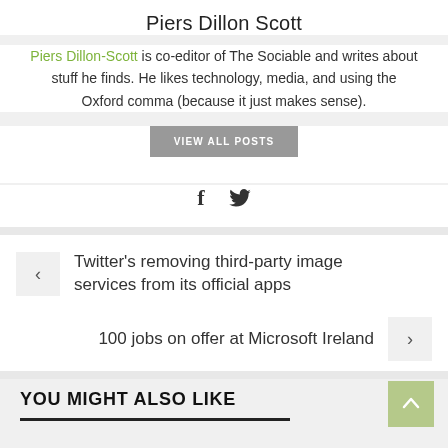Piers Dillon Scott
Piers Dillon-Scott is co-editor of The Sociable and writes about stuff he finds. He likes technology, media, and using the Oxford comma (because it just makes sense).
VIEW ALL POSTS
[Figure (illustration): Social media icons: Facebook f and Twitter bird]
Twitter's removing third-party image services from its official apps
100 jobs on offer at Microsoft Ireland
YOU MIGHT ALSO LIKE